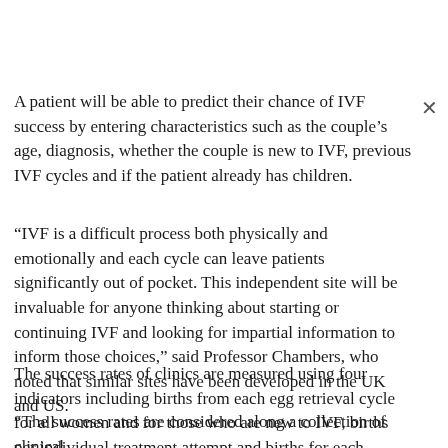A patient will be able to predict their chance of IVF success by entering characteristics such as the couple's age, diagnosis, whether the couple is new to IVF, previous IVF cycles and if the patient already has children.
“IVF is a difficult process both physically and emotionally and each cycle can leave patients significantly out of pocket. This independent site will be invaluable for anyone thinking about starting or continuing IVF and looking for impartial information to inform those choices,” said Professor Chambers, who noted that similar sites have been developed in the UK and US.
The success rates of clinics are measured using four indicators including births from each egg retrieval cycle for all women and for those who are new to IVF, births per individual treatment attempt and births for each embryo that is transferred.
“The success rates are considered along a collection of clinical...